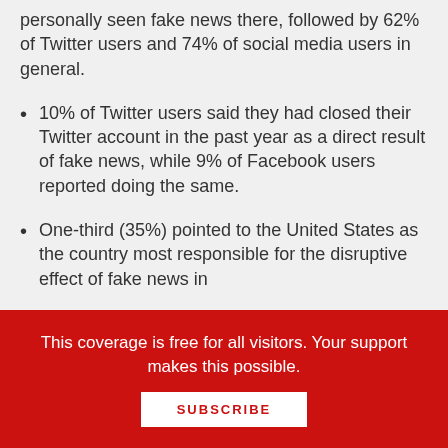personally seen fake news there, followed by 62% of Twitter users and 74% of social media users in general.
10% of Twitter users said they had closed their Twitter account in the past year as a direct result of fake news, while 9% of Facebook users reported doing the same.
One-third (35%) pointed to the United States as the country most responsible for the disruptive effect of fake news in
This coverage is free for all visitors. Your support makes this possible.
SUBSCRIBE